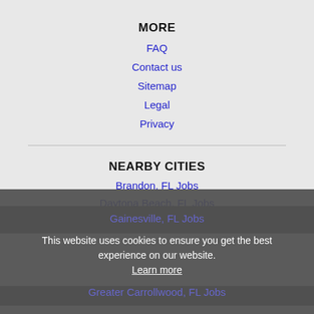MORE
FAQ
Contact us
Sitemap
Legal
Privacy
NEARBY CITIES
Brandon, FL Jobs
Daytona Beach, FL Jobs
Gainesville, FL Jobs
Greater Carrollwood, FL Jobs
Kissimmee, FL Jobs
Lake Magdalene, FL Jobs
Lakeland, FL Jobs
Land O Lakes, FL Jobs
This website uses cookies to ensure you get the best experience on our website. Learn more
Got it!